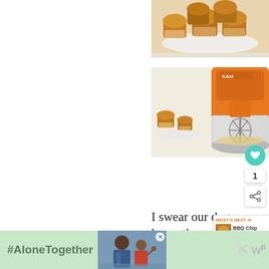[Figure (photo): Photo of golden muffins on a white plate against a light background]
[Figure (photo): Photo of an orange KitchenAid stand mixer with stainless steel bowl and whisk attachment, with small muffins visible in background]
I swear our dogs know the m... when we open a jar
[Figure (infographic): WHAT'S NEXT banner showing BBQ Chip Shake and... with thumbnail]
[Figure (photo): #AloneTogether advertisement banner with couple photo]